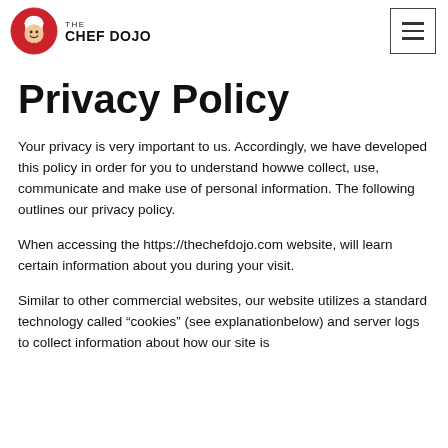[Figure (logo): The Chef Dojo logo: red circle with cartoon chef mascot on left, bold text 'THE CHEF DOJO' on right]
Privacy Policy
Your privacy is very important to us. Accordingly, we have developed this policy in order for you to understand howwe collect, use, communicate and make use of personal information. The following outlines our privacy policy.
When accessing the https://thechefdojo.com website, will learn certain information about you during your visit.
Similar to other commercial websites, our website utilizes a standard technology called “cookies” (see explanationbelow) and server logs to collect information about how our site is